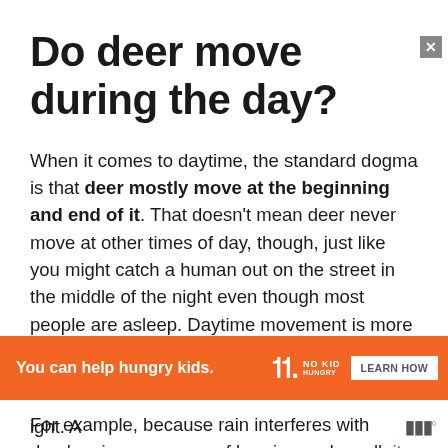Do deer move during the day?
When it comes to daytime, the standard dogma is that deer mostly move at the beginning and end of it. That doesn't mean deer never move at other times of day, though, just like you might catch a human out on the street in the middle of the night even though most people are asleep. Daytime movement is more erratic, though, and it depends on a number of factors.
For example, because rain interferes with deer's primary senses of hearing and smell, it
[Figure (other): Orange advertisement banner: 'You can help hungry kids.' with No Kid Hungry logo and LEARN HOW button, with close X button]
ight. A